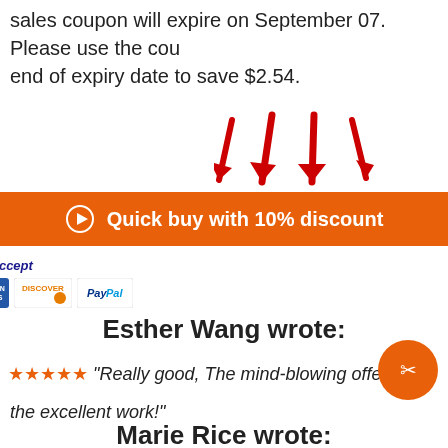sales coupon will expire on September 07. Please use the coupon before end of expiry date to save $2.54.
[Figure (illustration): Four red arrows pointing downward]
[Figure (infographic): Orange button with play icon: Quick buy with 10% discount]
[Figure (infographic): We Accept payment logos: VISA, MasterCard, American Express, Discover, PayPal]
Esther Wang wrote:
★★★★★ "Really good, The mind-blowing offer... the excellent work!"
[Figure (illustration): Orange circular scissors/share button]
Marie Rice wrote: